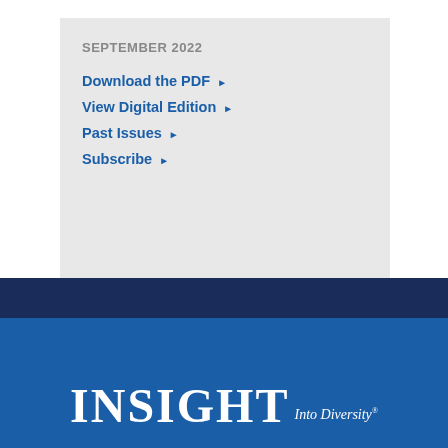SEPTEMBER 2022
Download the PDF ▶
View Digital Edition ▶
Past Issues ▶
Subscribe ▶
[Figure (logo): INSIGHT Into Diversity® logo in white on blue background]